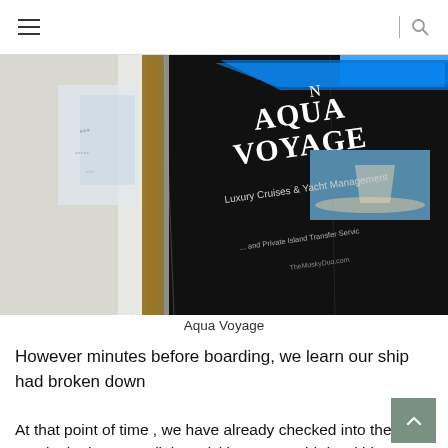[Figure (photo): Photo of an Aqua Voyage signage/display board showing 'AQUA VOYAGE Luxury Cruises & Yacht Management' with a yacht image, located in what appears to be a shopping mall or terminal interior]
Aqua Voyage
However minutes before boarding, we learn our ship had broken down
At that point of time , we have already checked into the terminal. There was little activities you could do within the